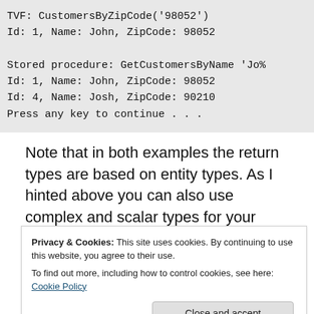[Figure (screenshot): Code output block showing TVF and stored procedure results: TVF: CustomersByZipCode('98052'), Id: 1, Name: John, ZipCode: 98052, Stored procedure: GetCustomersByName 'Jo%, Id: 1, Name: John, ZipCode: 98052, Id: 4, Name: Josh, ZipCode: 90210, Press any key to continue . . .]
Note that in both examples the return types are based on entity types. As I hinted above you can also use complex and scalar types for your results. Take a look at the End-
Privacy & Cookies: This site uses cookies. By continuing to use this website, you agree to their use. To find out more, including how to control cookies, see here: Cookie Policy